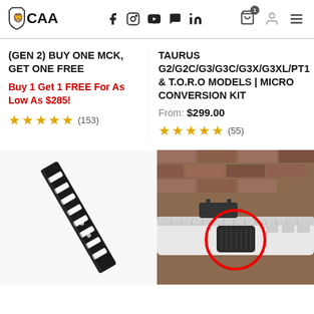CAA — website header with logo and navigation icons
(GEN 2) BUY ONE MCK, GET ONE FREE
Buy 1 Get 1 FREE For As Low As $285!
★★★★☆ (153)
TAURUS G2/G2C/G3/G3C/G3X/G3XL/PT1 & T.O.R.O MODELS | MICRO CONVERSION KIT
From: $299.00
★★★★☆ (55)
[Figure (photo): Black metal firearm accessory/muzzle brake close-up on white background]
[Figure (photo): Firearm accessory mounted on a rifle rail, with a red circle highlighting the component, against a brick wall background]